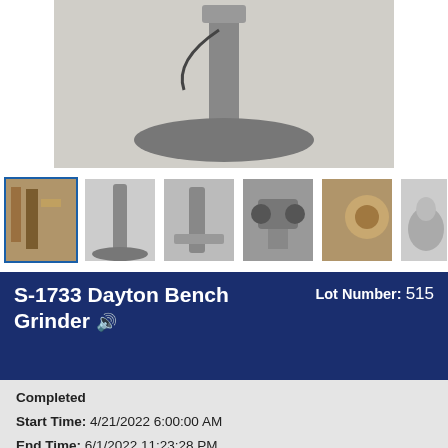[Figure (photo): Main product photo showing the base/stand of a Dayton Bench Grinder on a concrete floor]
[Figure (photo): Thumbnail gallery showing 6 photos of the Dayton Bench Grinder from various angles]
S-1733 Dayton Bench Grinder
Lot Number: 515
Completed
Start Time: 4/21/2022 6:00:00 AM
End Time: 6/1/2022 11:23:28 PM
Current Bid: $72.50
Bid Count: 25
Winning : 5****3